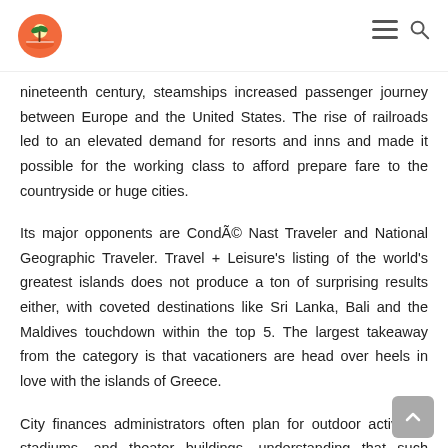Travel website header with logo and navigation icons
nineteenth century, steamships increased passenger journey between Europe and the United States. The rise of railroads led to an elevated demand for resorts and inns and made it possible for the working class to afford prepare fare to the countryside or huge cities.
Its major opponents are Condé Nast Traveler and National Geographic Traveler. Travel + Leisure's listing of the world's greatest islands does not produce a ton of surprising results either, with coveted destinations like Sri Lanka, Bali and the Maldives touchdown within the top 5. The largest takeaway from the category is that vacationers are head over heels in love with the islands of Greece.
City finances administrators often plan for outdoor activities, stadiums, and theater buildings, understanding that such recreational facilities will entice tourist dollars. Recreational applications are